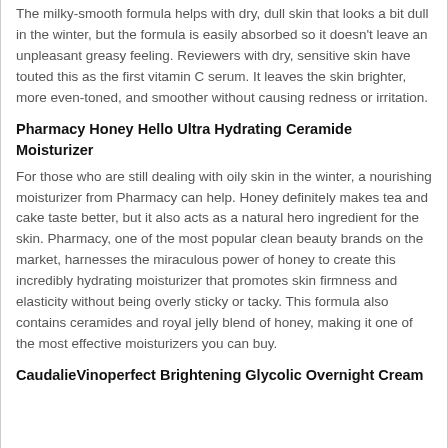The milky-smooth formula helps with dry, dull skin that looks a bit dull in the winter, but the formula is easily absorbed so it doesn't leave an unpleasant greasy feeling. Reviewers with dry, sensitive skin have touted this as the first vitamin C serum. It leaves the skin brighter, more even-toned, and smoother without causing redness or irritation.
Pharmacy Honey Hello Ultra Hydrating Ceramide Moisturizer
For those who are still dealing with oily skin in the winter, a nourishing moisturizer from Pharmacy can help. Honey definitely makes tea and cake taste better, but it also acts as a natural hero ingredient for the skin. Pharmacy, one of the most popular clean beauty brands on the market, harnesses the miraculous power of honey to create this incredibly hydrating moisturizer that promotes skin firmness and elasticity without being overly sticky or tacky. This formula also contains ceramides and royal jelly blend of honey, making it one of the most effective moisturizers you can buy.
CaudalieVinoperfect Brightening Glycolic Overnight Cream